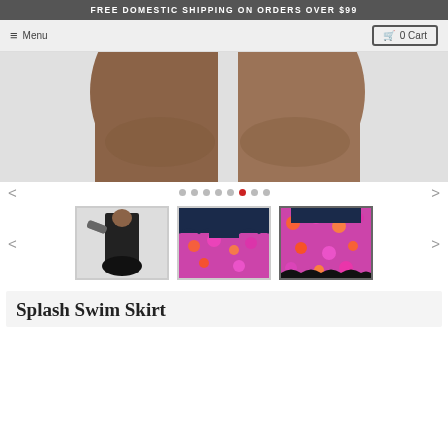FREE DOMESTIC SHIPPING ON ORDERS OVER $99
Menu | 0 Cart
[Figure (photo): Close-up photo of a person's legs wearing a swim skirt, cropped at upper thigh, light grey background]
[Figure (photo): Thumbnail 1: Woman in black long-sleeve top and black skirt]
[Figure (photo): Thumbnail 2: Close-up of colorful pink/purple floral swim skirt with navy top]
[Figure (photo): Thumbnail 3 (selected): Close-up of pink/purple floral swim skirt, selected with border]
Splash Swim Skirt